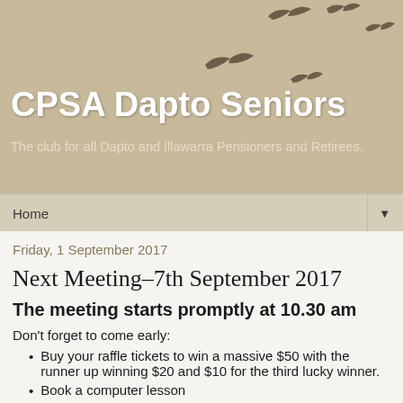[Figure (illustration): Flying birds silhouettes in dark brown/grey color scattered across upper right of header banner]
CPSA Dapto Seniors
The club for all Dapto and Illawarra Pensioners and Retirees.
Home ▼
Friday, 1 September 2017
Next Meeting–7th September 2017
The meeting starts promptly at 10.30 am
Don't forget to come early:
Buy your raffle tickets to win a massive $50 with the runner up winning $20 and $10 for the third lucky winner.
Book a computer lesson
Get your name down for one of the hit shows